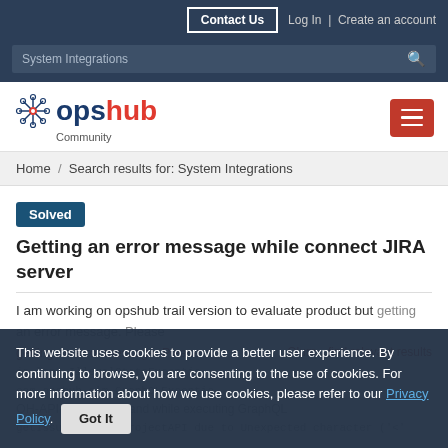Contact Us  Log In | Create an account
System Integrations [search]
[Figure (logo): OpsHub Community logo with network icon]
Home / Search results for: System Integrations
Solved  Getting an error message while connect JIRA server
I am working on opshub trail version to evaluate product but getting an error message. Please...
This website uses cookies to provide a better user experience. By continuing to browse, you are consenting to the use of cookies. For more information about how we use cookies, please refer to our Privacy Policy.  Got It